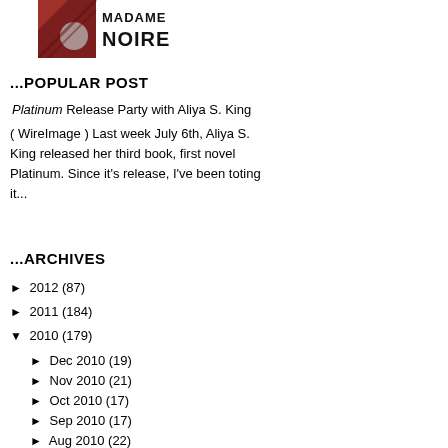[Figure (logo): MadameNoire logo — stylized geometric design in dark red/maroon with bold black text MADAME NOIRE]
...POPULAR POST
Platinum Release Party with Aliya S. King
( WireImage ) Last week July 6th, Aliya S. King released her third book, first novel Platinum. Since it's release, I've been toting it...
...ARCHIVES
► 2012 (87)
► 2011 (184)
▼ 2010 (179)
► Dec 2010 (19)
► Nov 2010 (21)
► Oct 2010 (17)
► Sep 2010 (17)
► Aug 2010 (22)